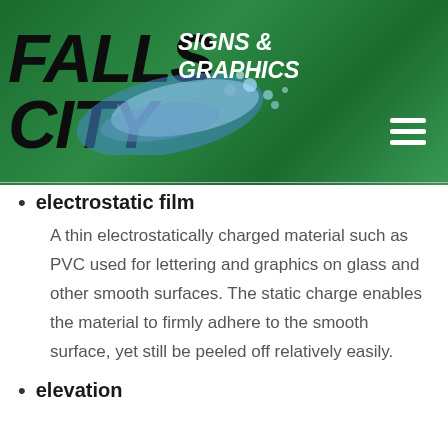[Figure (logo): Falls City Signs & Graphics logo with water splash graphic on dark green gradient background header]
electrostatic film
A thin electrostatically charged material such as PVC used for lettering and graphics on glass and other smooth surfaces. The static charge enables the material to firmly adhere to the smooth surface, yet still be peeled off relatively easily.
elevation